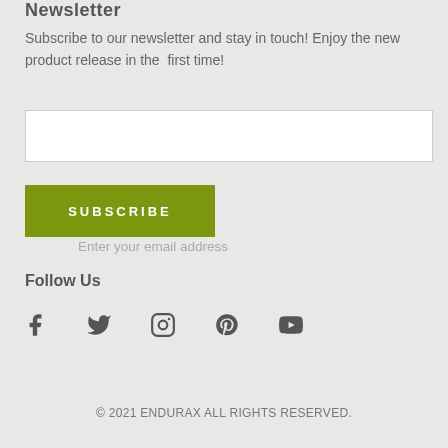Newsletter
Subscribe to our newsletter and stay in touch! Enjoy the new product release in the  first time!
Enter your email address
SUBSCRIBE
Follow Us
[Figure (illustration): Social media icons: Facebook, Twitter, Instagram, Pinterest, YouTube]
© 2021 ENDURAX ALL RIGHTS RESERVED.